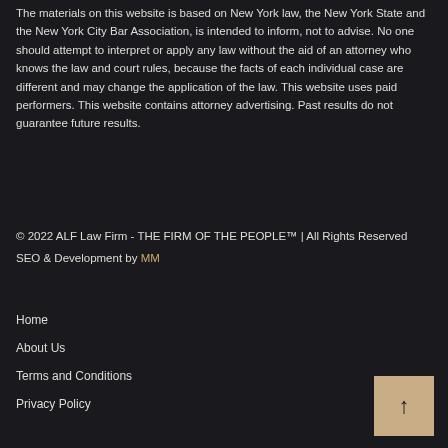The materials on this website is based on New York law, the New York State and the New York City Bar Association, is intended to inform, not to advise. No one should attempt to interpret or apply any law without the aid of an attorney who knows the law and court rules, because the facts of each individual case are different and may change the application of the law. This website uses paid performers. This website contains attorney advertising. Past results do not guarantee future results.
© 2022 ALF Law Firm - THE FIRM OF THE PEOPLE™ | All Rights Reserved
SEO & Development by MM
Home
About Us
Terms and Conditions
Privacy Policy